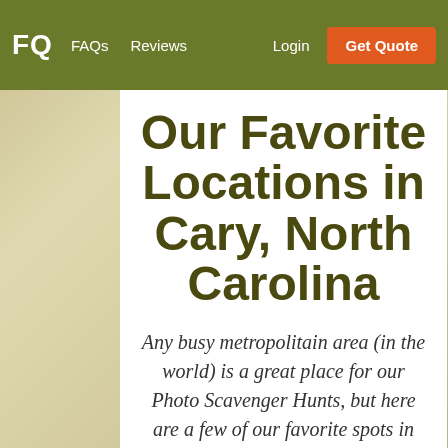FQ  FAQs  Reviews  Login  Get Quote
Our Favorite Locations in Cary, North Carolina
Any busy metropolitain area (in the world) is a great place for our Photo Scavenger Hunts, but here are a few of our favorite spots in Cary, North Carolina